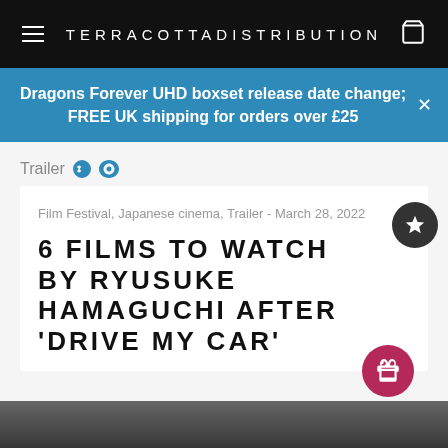TERRACOTTADISTRIBUTION
Dragons Forever UHD boxset release date change; FREE UK shipping for orders over £25
Trailer
Film Festival, Japanese cinema, Trailer - March 28, 2022
6 FILMS TO WATCH BY RYUSUKE HAMAGUCHI AFTER 'DRIVE MY CAR'